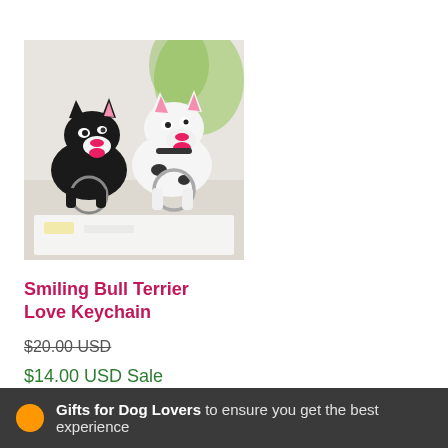[Figure (photo): Two Bull Terrier dog keychains — one black and one white with black spots — smiling, with metal keyring loops, photographed on a white surface with green plant blurred in background]
Smiling Bull Terrier Love Keychain
$20.00 USD (strikethrough original price)
$14.00 USD Sale
Gifts for Dog Lovers to ensure you get the best experience